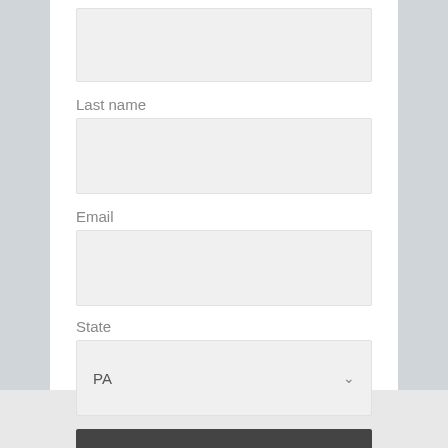[Figure (screenshot): Web form with Last name field (empty text input), Email field (empty text input), State field (dropdown showing PA), and Subscribe button on white panel with grey background]
Last name
Email
State
PA
Subscribe